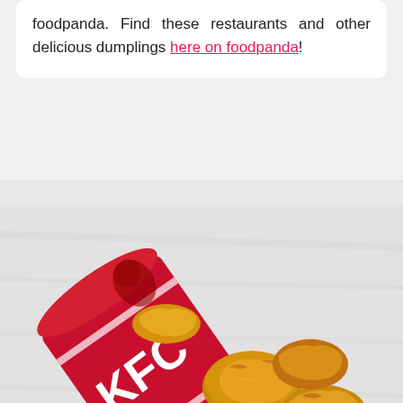foodpanda. Find these restaurants and other delicious dumplings here on foodpanda!
[Figure (photo): A red KFC bucket tipped on its side with multiple pieces of golden fried chicken spilling out, on a light grey/white surface background.]